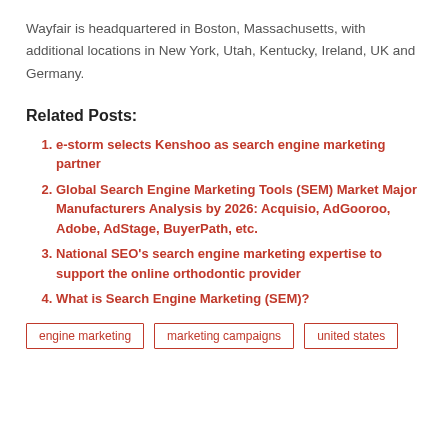Wayfair is headquartered in Boston, Massachusetts, with additional locations in New York, Utah, Kentucky, Ireland, UK and Germany.
Related Posts:
e-storm selects Kenshoo as search engine marketing partner
Global Search Engine Marketing Tools (SEM) Market Major Manufacturers Analysis by 2026: Acquisio, AdGooroo, Adobe, AdStage, BuyerPath, etc.
National SEO's search engine marketing expertise to support the online orthodontic provider
What is Search Engine Marketing (SEM)?
engine marketing | marketing campaigns | united states